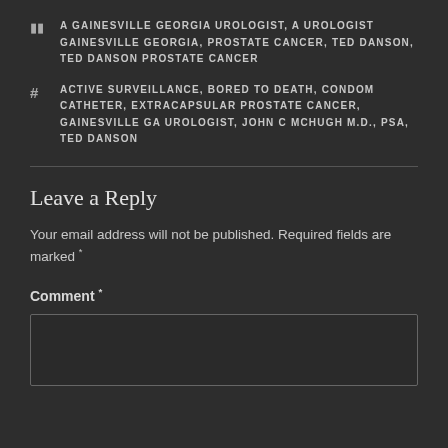A GAINESVILLE GEORGIA UROLOGIST, A UROLOGIST GAINESVILLE GEORGIA, PROSTATE CANCER, TED DANSON, TED DANSON PROSTATE CANCER
ACTIVE SURVEILLANCE, BORED TO DEATH, CONDOM CATHETER, EXTRACAPSULAR PROSTATE CANCER, GAINESVILLE GA UROLOGIST, JOHN C MCHUGH M.D., PSA, TED DANSON
Leave a Reply
Your email address will not be published. Required fields are marked *
Comment *